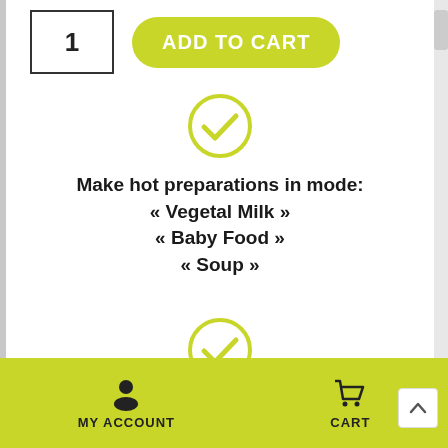[Figure (screenshot): Quantity input box showing '1' and an 'ADD TO CART' green pill button]
[Figure (illustration): Yellow-green circle with checkmark icon]
Make hot preparations in mode:
« Vegetal Milk »
« Baby Food »
« Soup »
[Figure (illustration): Yellow-green circle with checkmark icon]
Reheat or cook in mode
« Heat »
MY ACCOUNT   CART